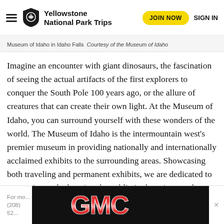Yellowstone National Park Trips | JOIN NOW | SIGN IN
Museum of Idaho in Idaho Falls  Courtesy of the Museum of Idaho
Imagine an encounter with giant dinosaurs, the fascination of seeing the actual artifacts of the first explorers to conquer the South Pole 100 years ago, or the allure of creatures that can create their own light. At the Museum of Idaho, you can surround yourself with these wonders of the world. The Museum of Idaho is the intermountain west’s premier museum in providing nationally and internationally acclaimed exhibits to the surrounding areas. Showcasing both traveling and permanent exhibits, we are dedicated to preserving and educating the public in the sciences, the humanities, and the natural and cultural history.
[Figure (logo): GMC advertisement banner — black background with red and silver GMC lettering]